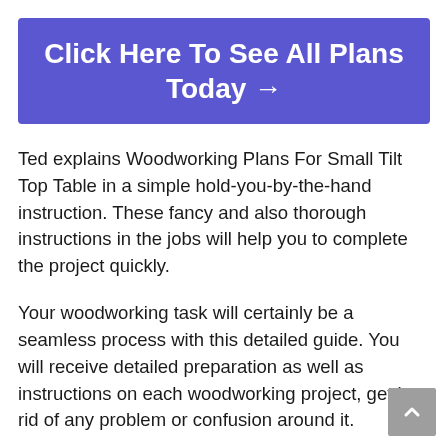Click Here To See All Plans Today →
Ted explains Woodworking Plans For Small Tilt Top Table in a simple hold-you-by-the-hand instruction. These fancy and also thorough instructions in the jobs will help you to complete the project quickly.
Your woodworking task will certainly be a seamless process with this detailed guide. You will receive detailed preparation as well as instructions on each woodworking project, getting rid of any problem or confusion around it.